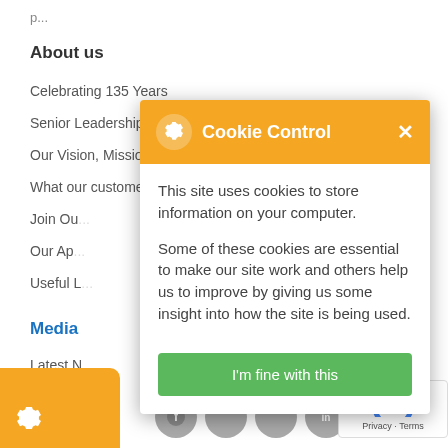About us
Celebrating 135 Years
Senior Leadership Team
Our Vision, Mission and Values
What our customers say
Join Ou...
Our Ap...
Useful L...
Media
Latest N...
Latest E...
[Figure (screenshot): Cookie Control modal dialog with orange header, gear icon, title 'Cookie Control', close X button. Body text: 'This site uses cookies to store information on your computer. Some of these cookies are essential to make our site work and others help us to improve by giving us some insight into how the site is being used.' Green button: 'I'm fine with this']